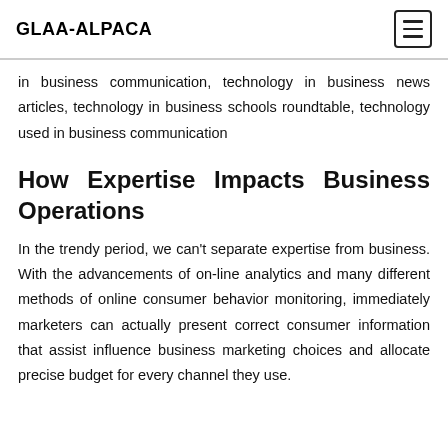GLAA-ALPACA
in business communication, technology in business news articles, technology in business schools roundtable, technology used in business communication
How Expertise Impacts Business Operations
In the trendy period, we can't separate expertise from business. With the advancements of on-line analytics and many different methods of online consumer behavior monitoring, immediately marketers can actually present correct consumer information that assist influence business marketing choices and allocate precise budget for every channel they use.